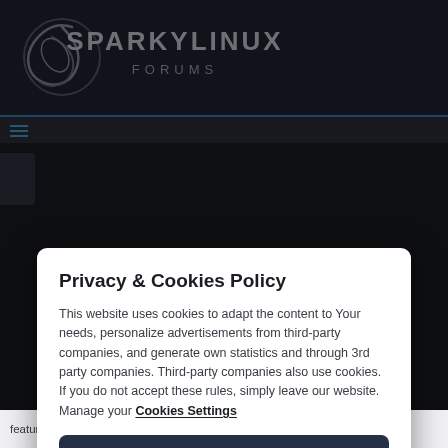[Figure (logo): SparkyLinux Forums logo with stylized swirl icon and text on dark background]
Privacy & Cookies Policy
This website uses cookies to adapt the content to Your needs, personalize advertisements from third-party companies, and generate own statistics and through 3rd party companies. Third-party companies also use cookies. If you do not accept these rules, simply leave our website. Manage your Cookies Settings
Accept all
Reject all
features can be found by either clicking the question mark icon